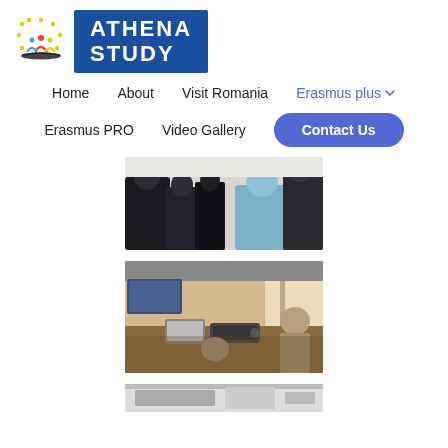[Figure (logo): Athena Study logo with icon of stylized people and stars, and blue rectangle with ATHENA STUDY text]
Home   About   Visit Romania   Erasmus plus ∨
Erasmus PRO   Video Gallery   Contact Us
[Figure (photo): Group of people standing with backs to camera, in a corridor or hallway]
[Figure (photo): Office meeting room with laptop, projector, screens and people working at a table]
[Figure (photo): Partial view of another photo, cut off at bottom of page]